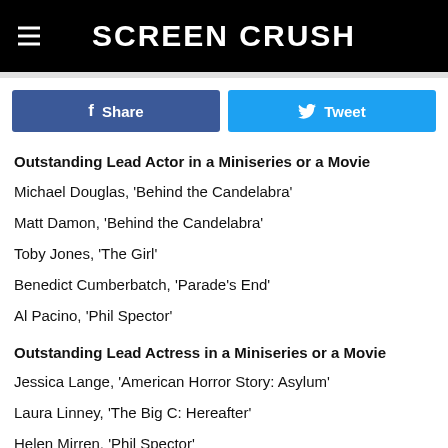Screen Crush
Outstanding Lead Actor in a Miniseries or a Movie
Michael Douglas, 'Behind the Candelabra'
Matt Damon, 'Behind the Candelabra'
Toby Jones, 'The Girl'
Benedict Cumberbatch, 'Parade's End'
Al Pacino, 'Phil Spector'
Outstanding Lead Actress in a Miniseries or a Movie
Jessica Lange, 'American Horror Story: Asylum'
Laura Linney, 'The Big C: Hereafter'
Helen Mirren, 'Phil Spector'
Sigourney Weaver, 'Political Animals'
Elisabeth Moss, 'Top of the Lake'